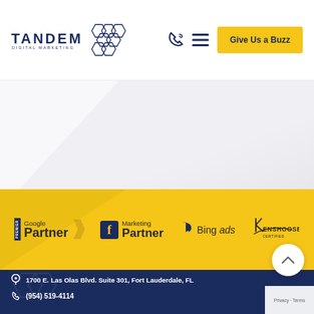[Figure (logo): Tandem Digital Marketing logo with honeycomb hexagon graphic]
[Figure (infographic): Navigation icons: phone/call icon and hamburger menu icon]
[Figure (other): Give Us a Buzz yellow button in header]
[Figure (infographic): Partner logos bar on yellow background: Google Premier Partner, Facebook Marketing Partner, Bing Ads, Kenshoo Search]
1700 E. Las Olas Blvd. Suite 301, Fort Lauderdale, FL
(954) 519-4114